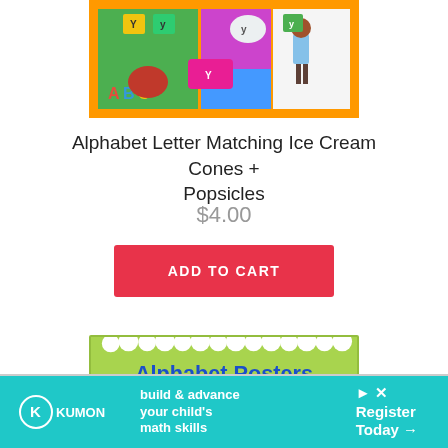[Figure (illustration): Colorful educational product image showing ice cream cones and popsicles with alphabet letters, ABC text, a child figure, on orange bordered background]
Alphabet Letter Matching Ice Cream Cones + Popsicles
$4.00
ADD TO CART
[Figure (illustration): Green background banner image with cloud border reading 'Alphabet Posters']
[Figure (illustration): Kumon advertisement banner: 'build & advance your child's math skills' with 'Register Today' call to action]